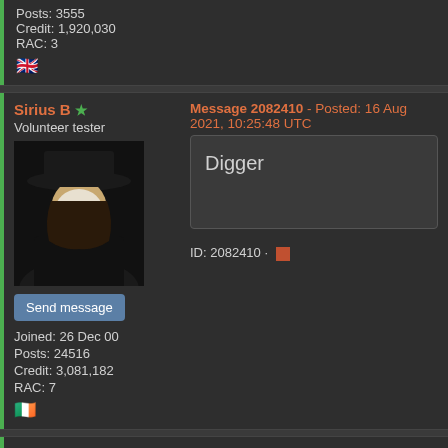Posts: 3555
Credit: 1,920,030
RAC: 3
[Figure (illustration): UK flag emoji]
Sirius B ★ Volunteer tester
Message 2082410 - Posted: 16 Aug 2021, 10:25:48 UTC
[Figure (photo): V for Vendetta style avatar in black hat and mask]
Digger
ID: 2082410 ·
Send message
Joined: 26 Dec 00
Posts: 24516
Credit: 3,081,182
RAC: 7
[Figure (illustration): Irish flag emoji]
W-K 666 ★ Volunteer tester
Message 2082411 - Posted: 16 Aug 2021, 10:31:49 UTC